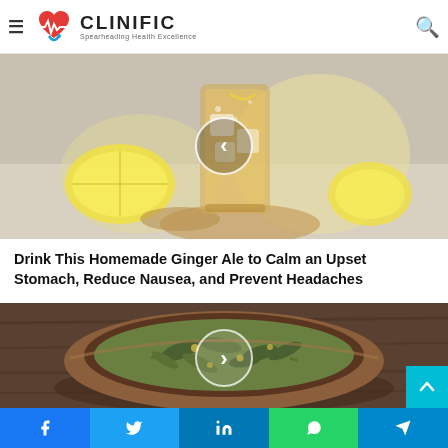CLINIFIC — Spearheading Health Excellence
[Figure (photo): A glass of homemade ginger ale with ice cubes and lemon slices on a wooden surface, with a navigation left-arrow circle overlay]
Drink This Homemade Ginger Ale to Calm an Upset Stomach, Reduce Nausea, and Prevent Headaches
[Figure (photo): A wooden bowl filled with dried herbal tea leaves and flowers, with a navigation right-arrow circle overlay]
Facebook | Twitter | LinkedIn | WhatsApp | Telegram share buttons